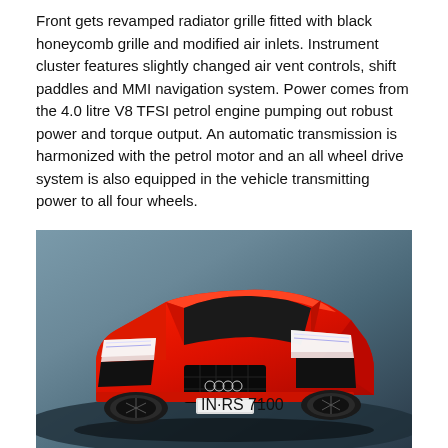Front gets revamped radiator grille fitted with black honeycomb grille and modified air inlets. Instrument cluster features slightly changed air vent controls, shift paddles and MMI navigation system. Power comes from the 4.0 litre V8 TFSI petrol engine pumping out robust power and torque output. An automatic transmission is harmonized with the petrol motor and an all wheel drive system is also equipped in the vehicle transmitting power to all four wheels.
[Figure (photo): Front view of a red Audi RS7 sports car with license plate IN-RS 7100, photographed against a dark grey studio background. The car features a large black honeycomb grille, aggressive front bumper with air inlets, and LED headlights.]